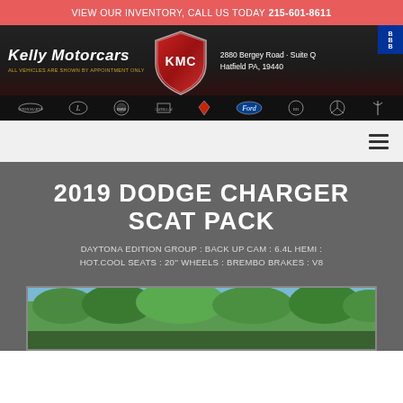VIEW OUR INVENTORY, CALL US TODAY 215-601-8611
[Figure (logo): Kelly Motorcars dealership header banner with KMC shield logo, address 2880 Bergey Road Suite Q Hatfield PA 19440, and luxury car brand logos including Aston Martin, Lexus, BMW, Cadillac, Ferrari, Ford, Rolls-Royce, Mercedes-Benz, Maserati]
2019 DODGE CHARGER SCAT PACK
DAYTONA EDITION GROUP : BACK UP CAM : 6.4L HEMI : HOT.COOL SEATS : 20'' WHEELS : BREMBO BRAKES : V8
[Figure (photo): Partial photo of a car (likely the 2019 Dodge Charger Scat Pack) photographed outdoors with trees visible in background]